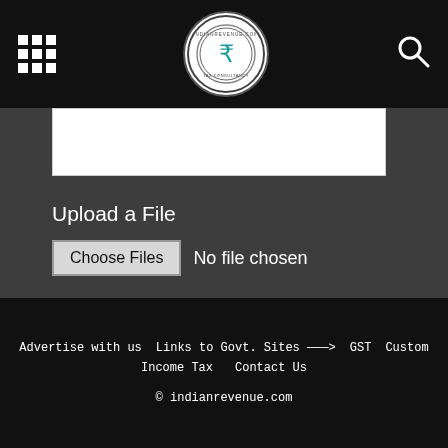[Figure (screenshot): Top navigation bar with grid/menu icon on left, indianrevenue.com circular logo in center, search icon on right, all on black background]
[Figure (screenshot): Text area input box, partially visible at top of content area]
Upload a File
[Figure (screenshot): File input: Choose Files button and 'No file chosen' text]
[Figure (screenshot): Submit and Reset buttons in teal/cyan color]
Information shared here is private &
Advertise with us   Links to Govt. Sites ———>   GST   Custom   Income Tax   Contact Us   © indianrevenue.com